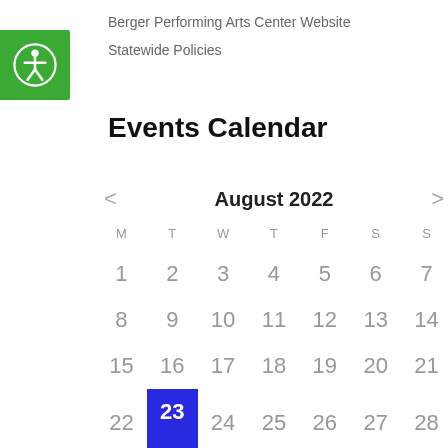Berger Performing Arts Center Website
Statewide Policies
[Figure (illustration): Green accessibility/wheelchair icon button]
Events Calendar
[Figure (other): August 2022 events calendar showing month view with days 1-28 visible, day 23 highlighted in blue as today]